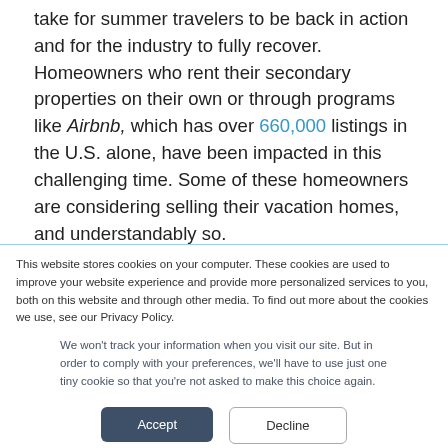take for summer travelers to be back in action and for the industry to fully recover. Homeowners who rent their secondary properties on their own or through programs like Airbnb, which has over 660,000 listings in the U.S. alone, have been impacted in this challenging time. Some of these homeowners are considering selling their vacation homes, and understandably so.
This website stores cookies on your computer. These cookies are used to improve your website experience and provide more personalized services to you, both on this website and through other media. To find out more about the cookies we use, see our Privacy Policy.
We won't track your information when you visit our site. But in order to comply with your preferences, we'll have to use just one tiny cookie so that you're not asked to make this choice again.
Accept
Decline